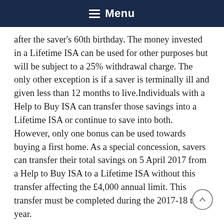Menu
after the saver's 60th birthday. The money invested in a Lifetime ISA can be used for other purposes but will be subject to a 25% withdrawal charge. The only other exception is if a saver is terminally ill and given less than 12 months to live.Individuals with a Help to Buy ISA can transfer those savings into a Lifetime ISA or continue to save into both. However, only one bonus can be used towards buying a first home. As a special concession, savers can transfer their total savings on 5 April 2017 from a Help to Buy ISA to a Lifetime ISA without this transfer affecting the £4,000 annual limit. This transfer must be completed during the 2017-18 tax year.